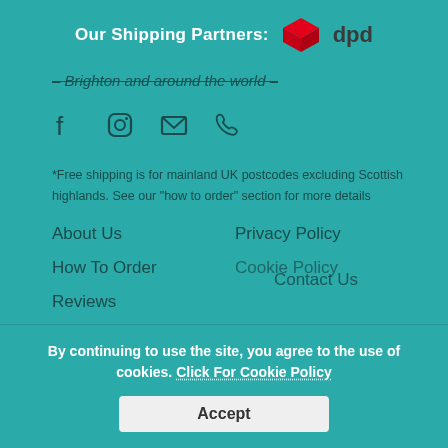Our Shipping Partners: dpd
– Brighton and around the world –
[Figure (infographic): Social media icons: Facebook, Instagram, Email, Phone]
*Free shipping is for mainland UK postcodes excluding Scottish highlands. See our "how to order" section for more details
About Us
Privacy Policy
How To Order
Cookie Policy
Reviews
The Bar
Contact Us
Account details
Beer Talk
By continuing to use the site, you agree to the use of cookies. Click For Cookie Policy
Accept